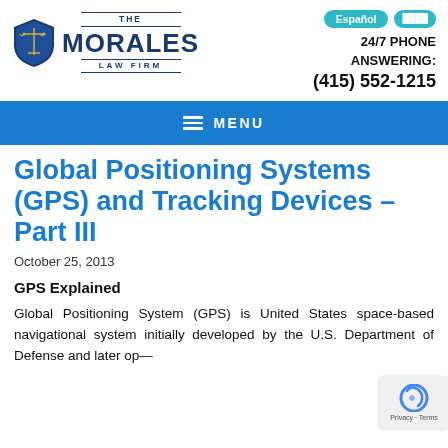[Figure (logo): The Morales Law Firm logo with blue shield/scales icon and firm name]
Español  [button]  24/7 PHONE ANSWERING: (415) 552-1215
MENU
Global Positioning Systems (GPS) and Tracking Devices – Part III
October 25, 2013
GPS Explained
Global Positioning System (GPS) is United States space-based navigational system initially developed by the U.S. Department of Defense and later op...